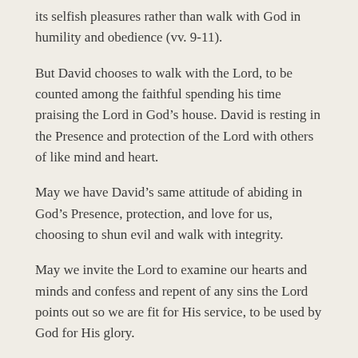its selfish pleasures rather than walk with God in humility and obedience (vv. 9-11).
But David chooses to walk with the Lord, to be counted among the faithful spending his time praising the Lord in God’s house. David is resting in the Presence and protection of the Lord with others of like mind and heart.
May we have David’s same attitude of abiding in God’s Presence, protection, and love for us, choosing to shun evil and walk with integrity.
May we invite the Lord to examine our hearts and minds and confess and repent of any sins the Lord points out so we are fit for His service, to be used by God for His glory.
This is the day the Lord has made – let us rejoice and be glad in it.